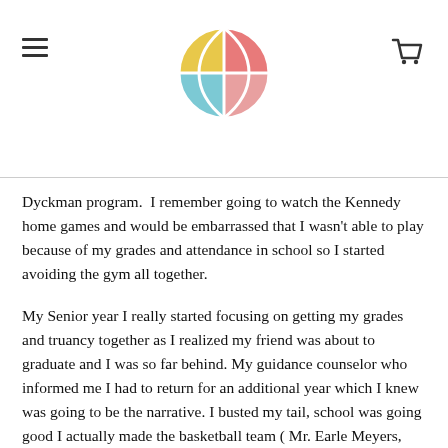[Basketball site header with logo and navigation]
Dyckman program.  I remember going to watch the Kennedy home games and would be embarrassed that I wasn't able to play because of my grades and attendance in school so I started avoiding the gym all together.
My Senior year I really started focusing on getting my grades and truancy together as I realized my friend was about to graduate and I was so far behind. My guidance counselor who informed me I had to return for an additional year which I knew was going to be the narrative. I busted my tail, school was going good I actually made the basketball team ( Mr. Earle Meyers, Mr. Dennis Pradier & Mr. Young) was the Coaches back then. Our Team was stacked at Kennedy HS 1984 to many good brothers to mention or leave out so I will leave it like that. The PSAL ruled that I was a 5th year senior and was ineligible to play which removed me